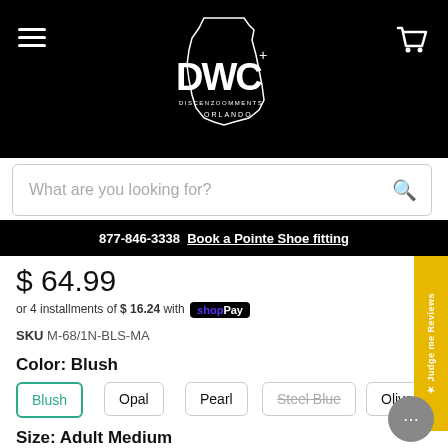[Figure (logo): DWC Orlando dance wear company logo in white on black background with Florida state outline]
What are you looking for?
877-846-3338 Book a Pointe Shoe fitting
$ 64.99
or 4 installments of $ 16.24 with Shop Pay
SKU M-68/1N-BLS-MA
Color: Blush
Blush
Opal
Pearl
Steel Blue
Olive
Size: Adult Medium
Adult Small
Adult Medium
Adult Large